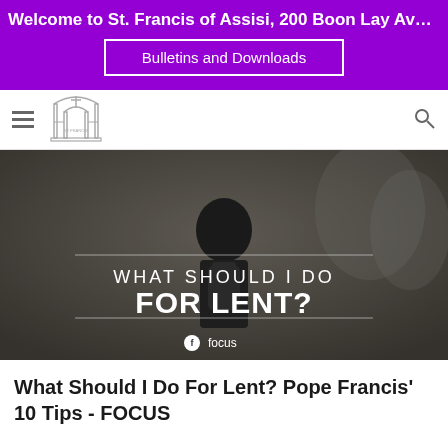Welcome to St. Francis of Assisi, 200 Boon Lay Avenue Si...
Bulletins and Downloads
[Figure (logo): Church logo with gate/arch structure icon]
[Figure (photo): Photo of person from behind with backpack outdoors, overlaid with text: WHAT SHOULD I DO FOR LENT? and focus branding]
What Should I Do For Lent? Pope Francis' 10 Tips - FOCUS